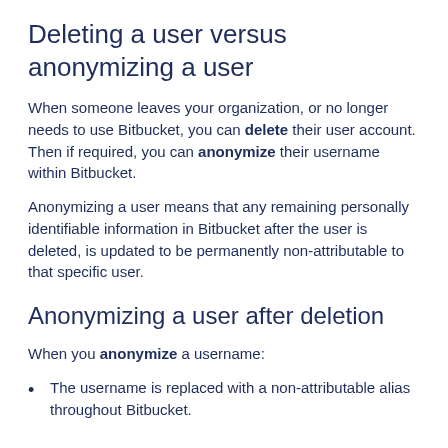Deleting a user versus anonymizing a user
When someone leaves your organization, or no longer needs to use Bitbucket, you can delete their user account. Then if required, you can anonymize their username within Bitbucket.
Anonymizing a user means that any remaining personally identifiable information in Bitbucket after the user is deleted, is updated to be permanently non-attributable to that specific user.
Anonymizing a user after deletion
When you anonymize a username:
The username is replaced with a non-attributable alias throughout Bitbucket.